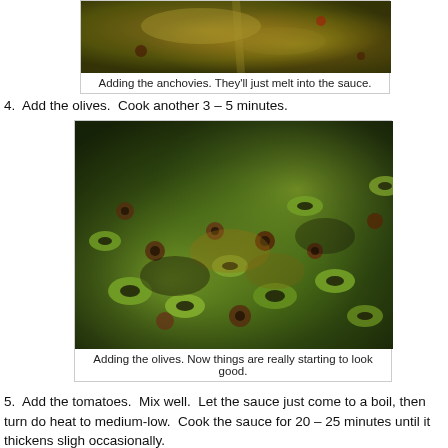[Figure (photo): Close-up photo of anchovies being added to a bubbling sauce in a pan, with olive oil and herbs visible.]
Adding the anchovies. They'll just melt into the sauce.
4.  Add the olives.  Cook another 3 – 5 minutes.
[Figure (photo): Close-up photo of mixed green and black olives being added to a pan with other ingredients cooking in olive oil.]
Adding the olives. Now things are really starting to look good.
5.  Add the tomatoes.  Mix well.  Let the sauce just come to a boil, then turn do heat to medium-low.  Cook the sauce for 20 – 25 minutes until it thickens sligh occasionally.